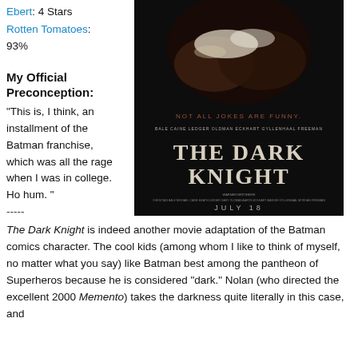Ebert: 4 Stars
Rotten Tomatoes: 93%
[Figure (photo): Movie poster for The Dark Knight (2008). Dark background showing gloved hands and the title 'THE DARK KNIGHT' in large letters. Text reads 'NOT ALL JOKES ARE FUNNY.' and 'JULY 18' at the bottom. Cast credits visible.]
My Official Preconception:
"This is, I think, an installment of the Batman franchise, which was all the rage when I was in college. Ho hum. "
-----
The Dark Knight is indeed another movie adaptation of the Batman comics character. The cool kids (among whom I like to think of myself, no matter what you say) like Batman best among the pantheon of Superheros because he is considered "dark." Nolan (who directed the excellent 2000 Memento) takes the darkness quite literally in this case, and